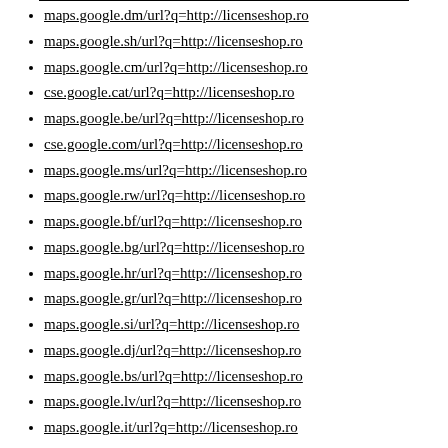maps.google.dm/url?q=http://licenseshop.ro
maps.google.sh/url?q=http://licenseshop.ro
maps.google.cm/url?q=http://licenseshop.ro
cse.google.cat/url?q=http://licenseshop.ro
maps.google.be/url?q=http://licenseshop.ro
cse.google.com/url?q=http://licenseshop.ro
maps.google.ms/url?q=http://licenseshop.ro
maps.google.rw/url?q=http://licenseshop.ro
maps.google.bf/url?q=http://licenseshop.ro
maps.google.bg/url?q=http://licenseshop.ro
maps.google.hr/url?q=http://licenseshop.ro
maps.google.gr/url?q=http://licenseshop.ro
maps.google.si/url?q=http://licenseshop.ro
maps.google.dj/url?q=http://licenseshop.ro
maps.google.bs/url?q=http://licenseshop.ro
maps.google.lv/url?q=http://licenseshop.ro
maps.google.it/url?q=http://licenseshop.ro
maps.google.sm/url?q=http://licenseshop.ro
maps.google.sc/url?q=http://licenseshop.ro